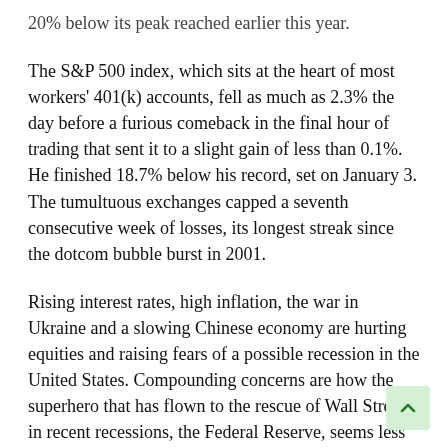20% below its peak reached earlier this year.
The S&P 500 index, which sits at the heart of most workers' 401(k) accounts, fell as much as 2.3% the day before a furious comeback in the final hour of trading that sent it to a slight gain of less than 0.1%. He finished 18.7% below his record, set on January 3. The tumultuous exchanges capped a seventh consecutive week of losses, its longest streak since the dotcom bubble burst in 2001.
Rising interest rates, high inflation, the war in Ukraine and a slowing Chinese economy are hurting equities and raising fears of a possible recession in the United States. Compounding concerns are how the superhero that has flown to the rescue of Wall Street in recent recessions, the Federal Reserve, seems less likely to help as it is stuck battling the worst inflation in decades.
The S&P 500 ended the day up 0.57 points at 3,901.36. The Dow Jones Industrial Average fell from an early loss of 617